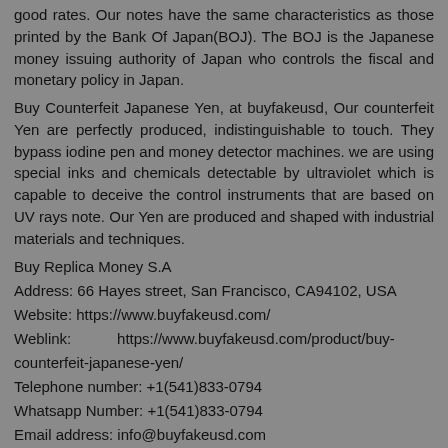good rates. Our notes have the same characteristics as those printed by the Bank Of Japan(BOJ). The BOJ is the Japanese money issuing authority of Japan who controls the fiscal and monetary policy in Japan.
Buy Counterfeit Japanese Yen, at buyfakeusd, Our counterfeit Yen are perfectly produced, indistinguishable to touch. They bypass iodine pen and money detector machines. we are using special inks and chemicals detectable by ultraviolet which is capable to deceive the control instruments that are based on UV rays note. Our Yen are produced and shaped with industrial materials and techniques.
Buy Replica Money S.A
Address: 66 Hayes street, San Francisco, CA94102, USA
Website: https://www.buyfakeusd.com/
Weblink: https://www.buyfakeusd.com/product/buy-counterfeit-japanese-yen/
Telephone number: +1(541)833-0794
Whatsapp Number: +1(541)833-0794
Email address: info@buyfakeusd.com
Reply